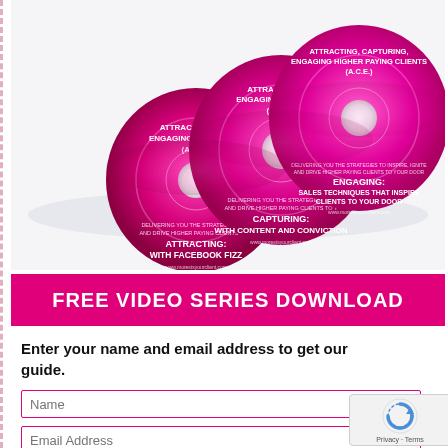[Figure (illustration): Three pink/magenta CDs labeled 'Attracting, Capturing, Engaging Higher Paying Clients (A.C.E.)' with subtitles: Attracting with Facebook Fizz, Capturing with Content and Conviction, Engaging: Sales Techniques that Inspire Clients to Your Door. Website www.morestsyourclient.com shown on discs.]
FREE VIDEO SERIES DOWNLOAD
Enter your name and email address to get our guide.
Name
Email Address